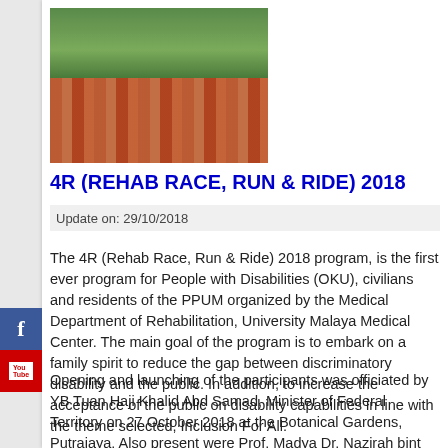[Figure (photo): Crowd of people in orange shirts at an outdoor event, some on bicycles, trees in background]
4R (REHAB RACE, RUN & RIDE) 2018
Update on: 29/10/2018
The 4R (Rehab Race, Run & Ride) 2018 program, is the first ever program for People with Disabilities (OKU), civilians and residents of the PPUM organized by the Medical Department of Rehabilitation, University Malaya Medical Center. The main goal of the program is to embark on a family spirit to reduce the gap between discriminatory disability and the public. In addition, to increase the acceptance of the public on disability capabilities in line with the theme selected, Inclusion For All.
Opening and launching of the participants was officiated by YB Tuan Haji Khalid Abd Samad, Minister of Federal Territory on 27 October 2018 at the Botanical Gardens, Putrajaya. Also present were Prof. Madya Dr. Nazirah bint Hasnan, Clinical Deputy Director (Medical) and Prof. Madya Dr. Julia Patrick Engkasan, Head of Rehabilitation Medicine Department of University Malaya Medical Center and YBhg Datuk Dr. Aminuddin Bin Hassim, President of Perbadanan Putrajaya